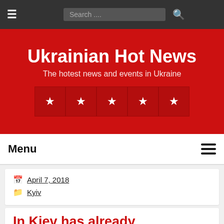☰  Search ...  🔍
Ukrainian Hot News
The hotest news and events in Ukraine
[Figure (other): Five red star boxes in a row representing social media or rating stars]
Menu
April 7, 2018
Kyiv
In Kiev has already established about 6 thousand cameras that